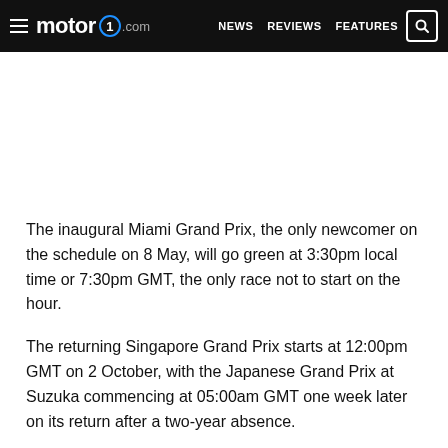motor1.com — NEWS  REVIEWS  FEATURES
The inaugural Miami Grand Prix, the only newcomer on the schedule on 8 May, will go green at 3:30pm local time or 7:30pm GMT, the only race not to start on the hour.
The returning Singapore Grand Prix starts at 12:00pm GMT on 2 October, with the Japanese Grand Prix at Suzuka commencing at 05:00am GMT one week later on its return after a two-year absence.